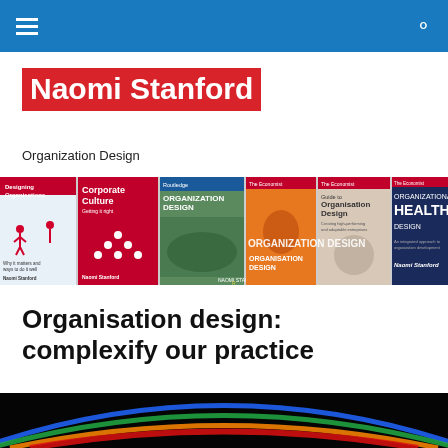Navigation bar with hamburger menu and search icon
Naomi Stanford
Organization Design
[Figure (illustration): A horizontal banner showing six book covers by Naomi Stanford on organisation design topics, with overlay text reading ORGANIZATION DESIGN and Naomi Stanford]
Organisation design: complexify our practice
[Figure (photo): Bottom portion of a dark image showing colorful concentric arcs of light (blue, green, orange, red) against a black background]